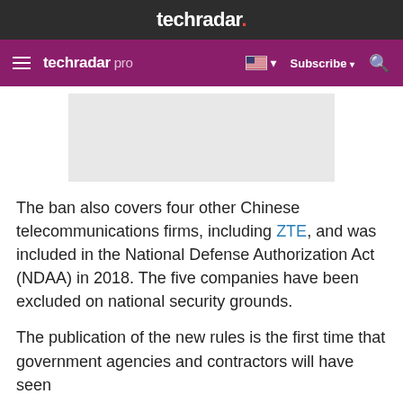techradar.
techradar pro  Subscribe
[Figure (other): Gray advertisement/image placeholder box]
The ban also covers four other Chinese telecommunications firms, including ZTE, and was included in the National Defense Authorization Act (NDAA) in 2018. The five companies have been excluded on national security grounds.
The publication of the new rules is the first time that government agencies and contractors will have seen